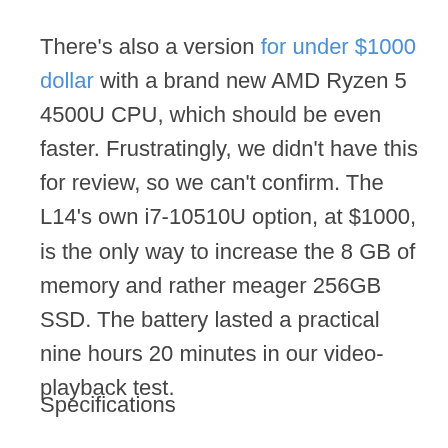There's also a version for under $1000 dollar with a brand new AMD Ryzen 5 4500U CPU, which should be even faster. Frustratingly, we didn't have this for review, so we can't confirm. The L14's own i7-10510U option, at $1000, is the only way to increase the 8 GB of memory and rather meager 256GB SSD. The battery lasted a practical nine hours 20 minutes in our video-playback test.
Specifications